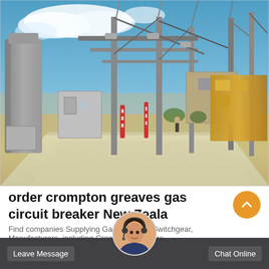[Figure (photo): Outdoor electrical substation yard with high-voltage equipment, vertical poles, transformer structures, concrete paths, sandy ground, blue sky with clouds, and yellow industrial structure on right]
order crompton greaves gas circuit breaker New Zealand
Find companies Supplying Gas Insulated Switchgear, Manufacturers, Suppliers, Crompton Greaves gas circuit breaker...
Leave Message
Chat Online